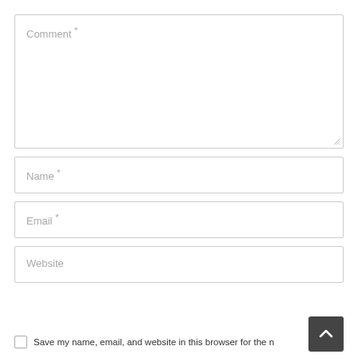Comment *
Name *
Email *
Website
Save my name, email, and website in this browser for the n…